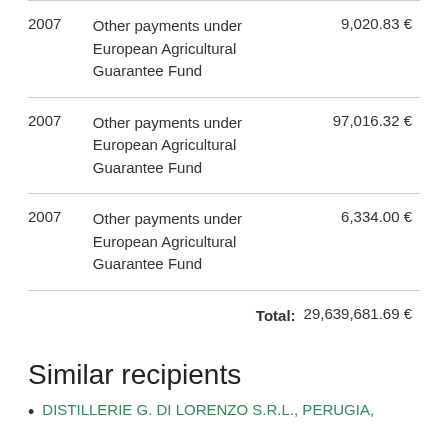| Year | Description | Amount |
| --- | --- | --- |
| 2007 | Other payments under European Agricultural Guarantee Fund | 9,020.83 € |
| 2007 | Other payments under European Agricultural Guarantee Fund | 97,016.32 € |
| 2007 | Other payments under European Agricultural Guarantee Fund | 6,334.00 € |
|  | Total: | 29,639,681.69 € |
Similar recipients
DISTILLERIE G. DI LORENZO S.R.L., PERUGIA,